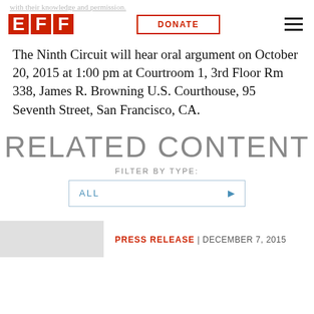with their knowledge and permission.
[Figure (logo): EFF logo — three red block letters E, F, F]
The Ninth Circuit will hear oral argument on October 20, 2015 at 1:00 pm at Courtroom 1, 3rd Floor Rm 338, James R. Browning U.S. Courthouse, 95 Seventh Street, San Francisco, CA.
RELATED CONTENT
FILTER BY TYPE:
ALL
PRESS RELEASE | DECEMBER 7, 2015